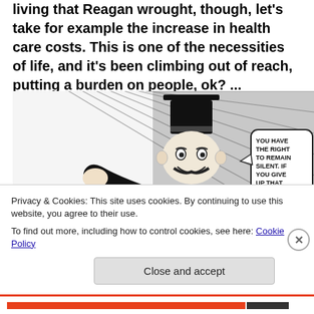living that Reagan wrought, though, let's take for example the increase in health care costs. This is one of the necessities of life, and it's been climbing out of reach, putting a burden on people, ok? ...
[Figure (illustration): Black and white cartoon illustration of the Monopoly Man (Rich Uncle Pennybags) in top hat and tuxedo, gesturing with one hand, holding a cane, with a speech bubble reading: YOU HAVE THE RIGHT TO REMAIN SILENT. IF YOU GIVE UP THAT RIGHT, YOU'RE...]
Privacy & Cookies: This site uses cookies. By continuing to use this website, you agree to their use.
To find out more, including how to control cookies, see here: Cookie Policy
Close and accept